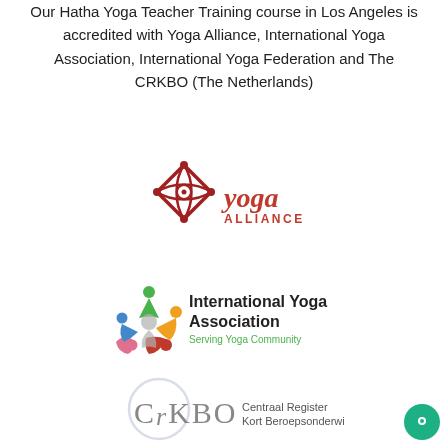Our Hatha Yoga Teacher Training course in Los Angeles is accredited with Yoga Alliance, International Yoga Association, International Yoga Federation and The CRKBO (The Netherlands)
[Figure (logo): Yoga Alliance logo — red ornamental lotus/diamond emblem with 'yoga ALLIANCE' text in red]
[Figure (logo): International Yoga Association logo — colorful swirling figures in a circle with text 'International Yoga Association' and 'Serving Yoga Community']
[Figure (logo): CRKBO logo — large circular watermark with 'CrKBO' text and subtitle 'Centraal Register Kort Beroepsonderwijs']